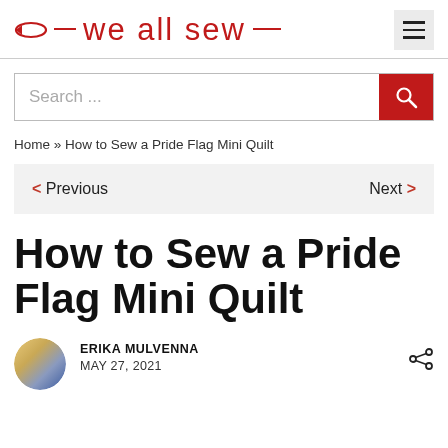we all sew
Search ...
Home » How to Sew a Pride Flag Mini Quilt
< Previous   Next >
How to Sew a Pride Flag Mini Quilt
ERIKA MULVENNA
MAY 27, 2021